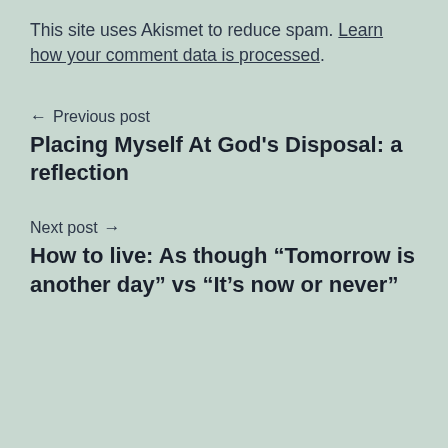This site uses Akismet to reduce spam. Learn how your comment data is processed.
← Previous post
Placing Myself At God's Disposal: a reflection
Next post →
How to live: As though “Tomorrow is another day” vs “It’s now or never”